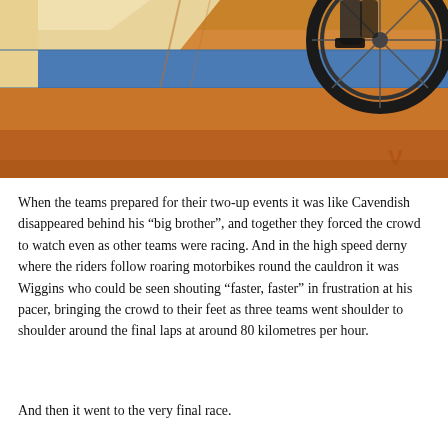[Figure (photo): Close-up photo of a cycling track velodrome. The track surface is bright orange/amber with blue and yellow-cream lane markings. A bicycle wheel and the lower body of a cyclist are visible in the upper right corner. The perspective is from track level looking across the banked surface.]
When the teams prepared for their two-up events it was like Cavendish disappeared behind his “big brother”, and together they forced the crowd to watch even as other teams were racing. And in the high speed derny where the riders follow roaring motorbikes round the cauldron it was Wiggins who could be seen shouting “faster, faster” in frustration at his pacer, bringing the crowd to their feet as three teams went shoulder to shoulder around the final laps at around 80 kilometres per hour.
And then it went to the very final race.